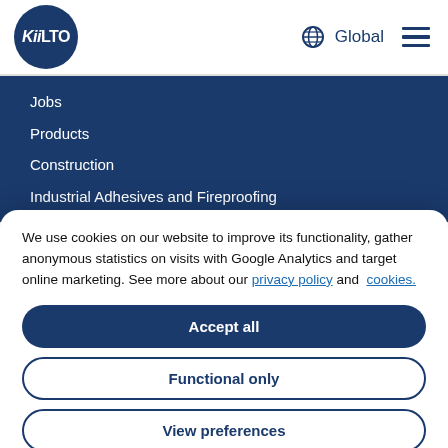[Figure (logo): KiiLTO logo - dark navy blue circle with white KiiLTO text]
Global
Jobs
Products
Construction
Industrial Adhesives and Fireproofing
We use cookies on our website to improve its functionality, gather anonymous statistics on visits with Google Analytics and target online marketing. See more about our privacy policy and cookies.
Accept all
Functional only
View preferences
For media